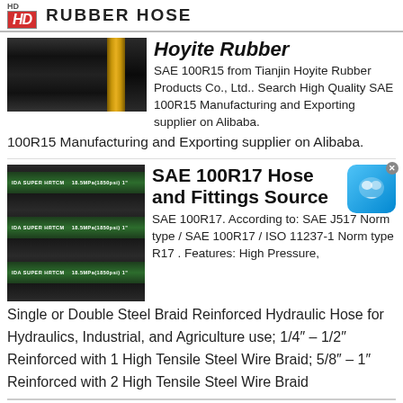HD RUBBER HOSE
Hoyite Rubber
SAE 100R15 from Tianjin Hoyite Rubber Products Co., Ltd.. Search High Quality SAE 100R15 Manufacturing and Exporting supplier on Alibaba.
SAE 100R17 Hose and Fittings Source
SAE 100R17. According to: SAE J517 Norm type / SAE 100R17 / ISO 11237-1 Norm type R17 . Features: High Pressure, Single or Double Steel Braid Reinforced Hydraulic Hose for Hydraulics, Industrial, and Agriculture use; 1/4" – 1/2" Reinforced with 1 High Tensile Steel Wire Braid; 5/8" – 1" Reinforced with 2 High Tensile Steel Wire Braid
[Figure (photo): Black rubber hose with gold band end fitting]
[Figure (photo): Multiple black rubber hoses with green label stripes showing IDA SUPER HRTCM and 18.5MPa(1850psi)]